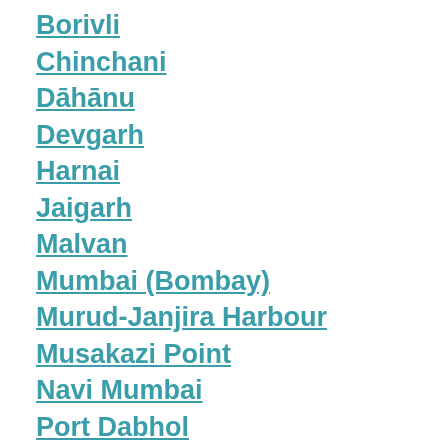Borivli
Chinchani
Dāhānu
Devgarh
Harnai
Jaigarh
Malvan
Mumbai (Bombay)
Murud-Janjira Harbour
Musakazi Point
Navi Mumbai
Port Dabhol
Ratnagiri Bay
Revadanda (Chaul)
Rewas Bandar
Satpati
Srīvardhan